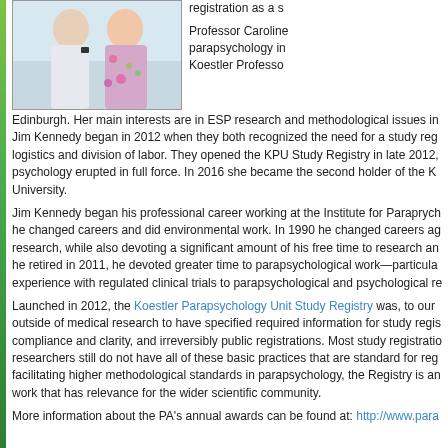[Figure (photo): Photograph of two people standing together outdoors, a man on the left and a woman on the right wearing a floral top.]
registration as a s

Professor Caroline parapsychology in Koestler Professo Edinburgh. Her main interests are in ESP research and methodological issues in Jim Kennedy began in 2012 when they both recognized the need for a study reg logistics and division of labor. They opened the KPU Study Registry in late 2012, psychology erupted in full force. In 2016 she became the second holder of the K University.
Jim Kennedy began his professional career working at the Institute for Paraprych he changed careers and did environmental work. In 1990 he changed careers ag research, while also devoting a significant amount of his free time to research an he retired in 2011, he devoted greater time to parapsychological work—particula experience with regulated clinical trials to parapsychological and psychological re
Launched in 2012, the Koestler Parapsychology Unit Study Registry was, to our outside of medical research to have specified required information for study regis compliance and clarity, and irreversibly public registrations. Most study registratio researchers still do not have all of these basic practices that are standard for reg facilitating higher methodological standards in parapsychology, the Registry is an work that has relevance for the wider scientific community.
More information about the PA's annual awards can be found at: http://www.para